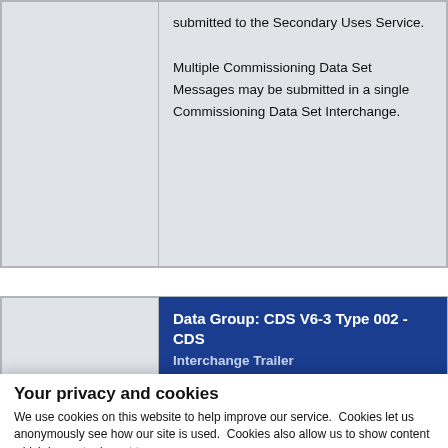|  | submitted to the Secondary Uses Service.

Multiple Commissioning Data Set Messages may be submitted in a single Commissioning Data Set Interchange. |
|  | Data Group: CDS V6-3 Type 002 - CDS Interchange Trailer |
Your privacy and cookies
We use cookies on this website to help improve our service.  Cookies let us anonymously see how our site is used.  Cookies also allow us to show content which is most relevant to you.
You can choose to only have the cookies which are essential for the site to run, but some features won't work.
You can use this tool to change your cookie settings. Choose 'show details' to see the cookies we use and why.
Use necessary cookies only
Allow all cookies
Show details